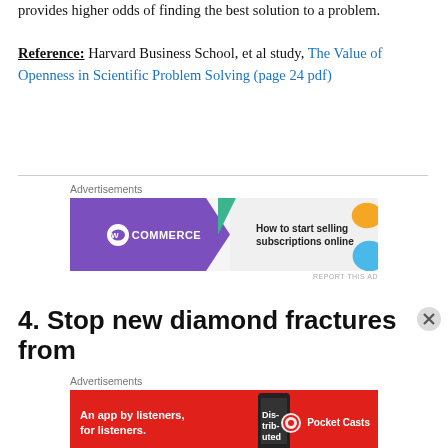provides higher odds of finding the best solution to a problem.
Reference: Harvard Business School, et al study, The Value of Openness in Scientific Problem Solving (page 24 pdf)
[Figure (other): WooCommerce advertisement banner: How to start selling subscriptions online]
4. Stop new diamond fractures from
[Figure (other): Pocket Casts advertisement banner: An app by listeners, for listeners.]